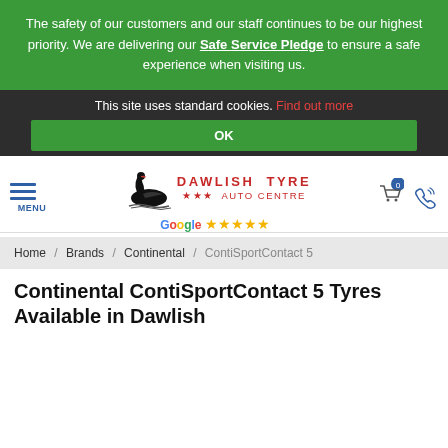The safety of our customers and our staff continues to be our highest priority. We are delivering our Safe Service Pledge to ensure a safe experience when visiting us.
This site uses standard cookies. Find out more
OK
[Figure (logo): Dawlish Tyre Auto Centre logo with swan illustration, brand name in red, and Google five-star rating]
Home / Brands / Continental / ContiSportContact 5
Continental ContiSportContact 5 Tyres Available in Dawlish